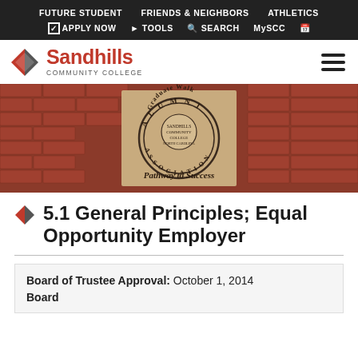FUTURE STUDENT  FRIENDS & NEIGHBORS  ATHLETICS
☑ APPLY NOW  ▶ TOOLS  🔍 SEARCH  MySCC  📅
[Figure (logo): Sandhills Community College logo with red diamond/flag icon and red text 'Sandhills COMMUNITY COLLEGE']
[Figure (photo): Photo of red brick walkway with a sandstone tile inset showing the Sandhills Community College Alumni Association seal reading 'Graduate Walk', 'ALUMNI', 'SANDHILLS COMMUNITY COLLEGE', 'ASSOCIATION', 'Pathway to Success']
5.1 General Principles; Equal Opportunity Employer
Board of Trustee Approval: October 1, 2014